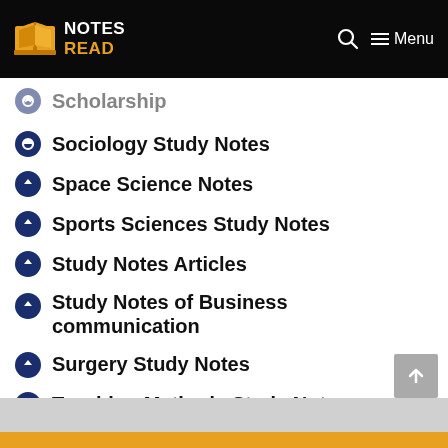NOTES READ
Scholarship
Sociology Study Notes
Space Science Notes
Sports Sciences Study Notes
Study Notes Articles
Study Notes of Business communication
Surgery Study Notes
Teaching Methods Study Notes
Tech Notes